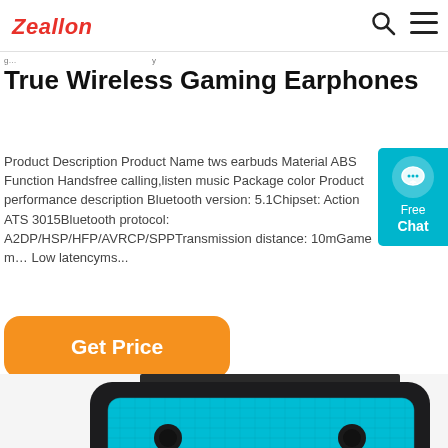Zeallon
True Wireless Gaming Earphones
Product Description Product Name tws earbuds Material ABS Function Handsfree calling,listen music Package color Product performance description Bluetooth version: 5.1Chipset: Action ATS 3015Bluetooth protocol: A2DP/HSP/HFP/AVRCP/SPPTransmission distance: 10mGame mode Low latencyms...
[Figure (infographic): Free Chat widget with teal background and chat bubble icon]
[Figure (other): Get Price orange rounded button]
[Figure (photo): Product photo of a black wireless gaming earphone case with teal mesh grille and two circular dot elements, viewed from front]